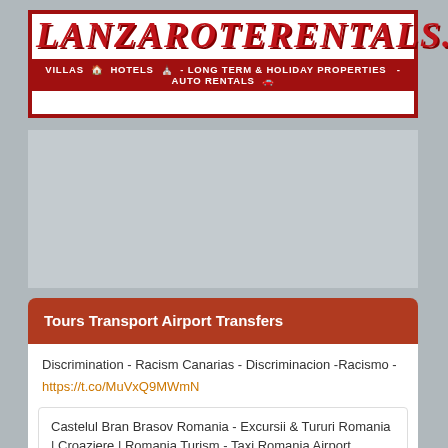[Figure (logo): Lanzarote Rentals website banner logo with red border. Large red italic text 'LANZAROTERENTALS.ES' on white background, below a dark red bar reading 'VILLAS - HOTELS - LONG TERM & HOLIDAY PROPERTIES - AUTO RENTALS' with small icons.]
[Figure (other): Gray advertisement placeholder area]
Tours Transport Airport Transfers
Discrimination - Racism Canarias - Discriminacion -Racismo -
https://t.co/MuVxQ9MWmN
Castelul Bran Brasov Romania - Excursii & Tururi Romania | Croaziere | Romania Turism - Taxi Romania Airport Transf…
https://t.co/bsQ8hcovYo